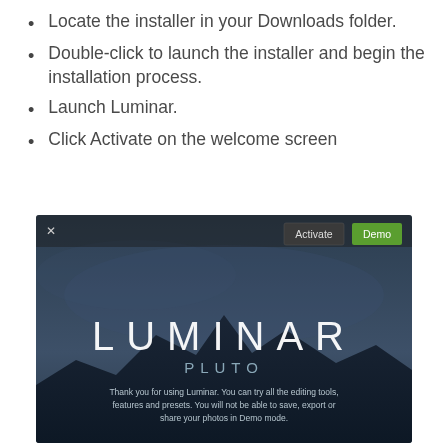Locate the installer in your Downloads folder.
Double-click to launch the installer and begin the installation process.
Launch Luminar.
Click Activate on the welcome screen
[Figure (screenshot): Luminar Pluto welcome screen with Activate and Demo buttons, showing the Luminar Pluto logo and a message about Demo mode limitations.]